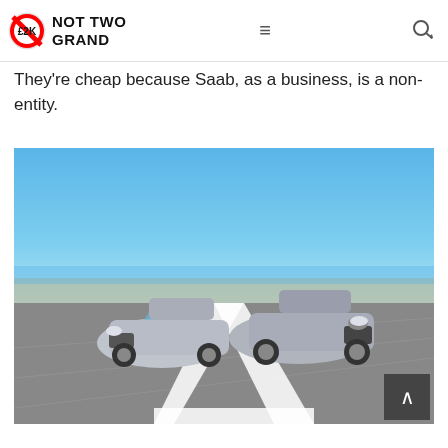Not Two Grand — navigation bar with logo (£2K symbol), hamburger menu, search icon
They're cheap because Saab, as a business, is a non-entity.
[Figure (photo): Two silver Saab 9-5 cars driving toward the camera on a road, blue sky and water in background. Road markings visible. A scroll-to-top button appears in the bottom right corner.]